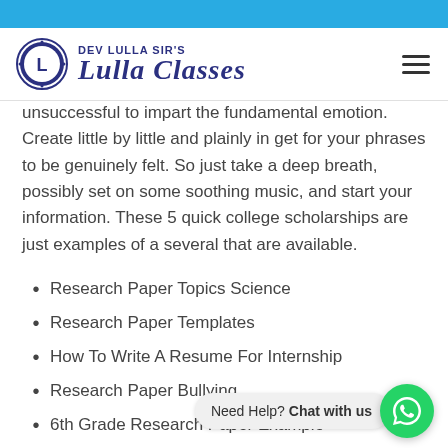DEV LULLA SIR'S Lulla Classes
unsuccessful to impart the fundamental emotion. Create little by little and plainly in get for your phrases to be genuinely felt. So just take a deep breath, possibly set on some soothing music, and start your information. These 5 quick college scholarships are just examples of a several that are available.
Research Paper Topics Science
Research Paper Templates
How To Write A Resume For Internship
Research Paper Bullying
6th Grade Research Paper Example
How To Write An Rsvp Email
How To Write A Policy
Research on line, look at with providers you do organization